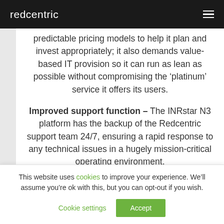redcentric
predictable pricing models to help it plan and invest appropriately; it also demands value-based IT provision so it can run as lean as possible without compromising the ‘platinum’ service it offers its users.
Improved support function – The INRstar N3 platform has the backup of the Redcentric support team 24/7, ensuring a rapid response to any technical issues in a hugely mission-critical operating environment.
This website uses cookies to improve your experience. We’ll assume you’re ok with this, but you can opt-out if you wish.
Cookie settings | Accept